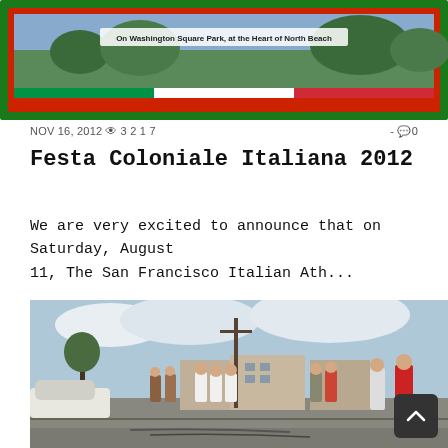[Figure (photo): Top banner image for Italian festival event showing Washington Square Park at the heart of North Beach, with green and red Italian flag-colored border frame]
NOV 16, 2012 👁 3217  -  💬 0
Festa Coloniale Italiana 2012
We are very excited to announce that on Saturday, August 11, The San Francisco Italian Ath...
[Figure (photo): Outdoor street procession photo showing children and adults in white dresses and red robes marching in a religious or cultural parade, with houses and utility poles in the background under a cloudy sky]